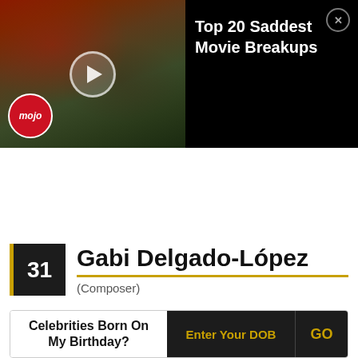[Figure (screenshot): Video thumbnail for 'Top 20 Saddest Movie Breakups' from WatchMojo with a play button overlay and mojo logo, showing two people in an outdoor scene with red-haired woman on left]
Top 20 Saddest Movie Breakups
31  Gabi Delgado-López
(Composer)
Celebrities Born On My Birthday?
Enter Your DOB
GO